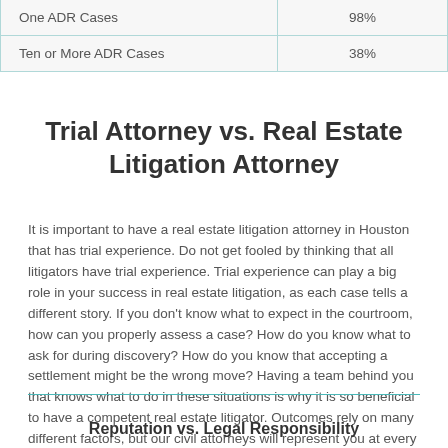|  |  |
| --- | --- |
| One ADR Cases | 98% |
| Ten or More ADR Cases | 38% |
Trial Attorney vs. Real Estate Litigation Attorney
It is important to have a real estate litigation attorney in Houston that has trial experience.  Do not get fooled by thinking that all litigators have trial experience.  Trial experience can play a big role in your success in real estate litigation, as each case tells a different story.  If you don't know what to expect in the courtroom, how can you properly assess a case?  How do you know what to ask for during discovery? How do you know that accepting a settlement might be the wrong move?  Having a team behind you that knows what to do in these situations is why it is so beneficial to have a competent real estate litigator.  Outcomes rely on many different factors, but our civil attorneys will represent you at every step in the process.
Reputation vs. Legal Responsibility